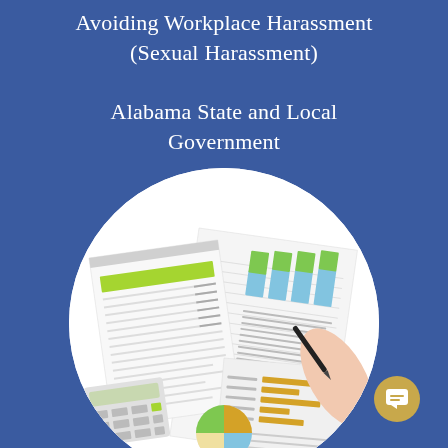Avoiding Workplace Harassment (Sexual Harassment)
Alabama State and Local Government
Civic Engagement
The Alabama Economy
[Figure (photo): Circular photo showing financial documents with bar charts (green and blue bars), a spiral notebook with a green calculator/spreadsheet, a pie chart, a hand holding a pen, and additional financial report papers on a white surface.]